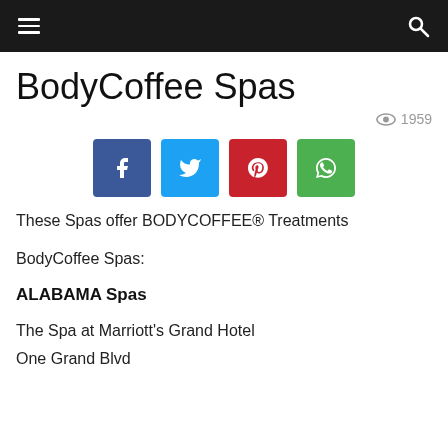BodyCoffee Spas — navigation header
BodyCoffee Spas
1959 views
[Figure (infographic): Social share buttons: Facebook (blue), Twitter (cyan), Pinterest (red), WhatsApp (green)]
These Spas offer BODYCOFFEE® Treatments
BodyCoffee Spas:
ALABAMA Spas
The Spa at Marriott's Grand Hotel
One Grand Blvd